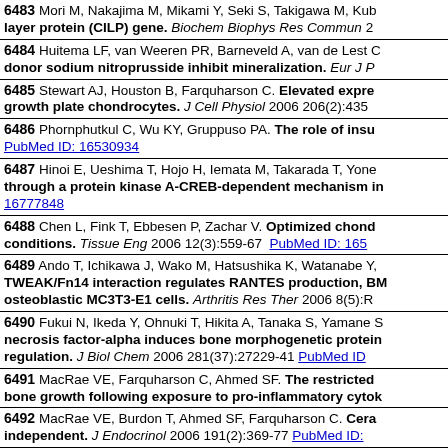6483 Mori M, Nakajima M, Mikami Y, Seki S, Takigawa M, Kub... layer protein (CILP) gene. Biochem Biophys Res Commun 2...
6484 Huitema LF, van Weeren PR, Barneveld A, van de Lest C... donor sodium nitroprusside inhibit mineralization. Eur J P...
6485 Stewart AJ, Houston B, Farquharson C. Elevated expre... growth plate chondrocytes. J Cell Physiol 2006 206(2):435
6486 Phornphutkul C, Wu KY, Gruppuso PA. The role of insu... PubMed ID: 16530934
6487 Hinoi E, Ueshima T, Hojo H, Iemata M, Takarada T, Yone... through a protein kinase A-CREB-dependent mechanism in... 16777848
6488 Chen L, Fink T, Ebbesen P, Zachar V. Optimized chond... conditions. Tissue Eng 2006 12(3):559-67 PubMed ID: 165...
6489 Ando T, Ichikawa J, Wako M, Hatsushika K, Watanabe Y,... TWEAK/Fn14 interaction regulates RANTES production, BM... osteoblastic MC3T3-E1 cells. Arthritis Res Ther 2006 8(5):R...
6490 Fukui N, Ikeda Y, Ohnuki T, Hikita A, Tanaka S, Yamane S... necrosis factor-alpha induces bone morphogenetic protein... regulation. J Biol Chem 2006 281(37):27229-41 PubMed ID...
6491 MacRae VE, Farquharson C, Ahmed SF. The restricted... bone growth following exposure to pro-inflammatory cytok...
6492 MacRae VE, Burdon T, Ahmed SF, Farquharson C. Cera... independent. J Endocrinol 2006 191(2):369-77 PubMed ID:...
6976 Nagai N, Anzawa T, Satoh Y, Suzuki T, Tajima K, Murek...